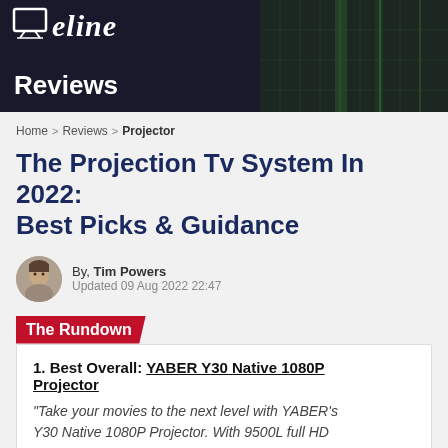[Figure (photo): Website header banner with dark background showing a logo and the word Reviews in white bold text. The background has a dark grid/server-rack style imagery with green tones on the right side.]
Home > Reviews > Projector
The Projection Tv System In 2022: Best Picks & Guidance
By, Tim Powers
Updated 09 Aug 2022 22:47
The Rundown
1. Best Overall: YABER Y30 Native 1080P Projector
"Take your movies to the next level with YABER's Y30 Native 1080P Projector. With 9500L full HD